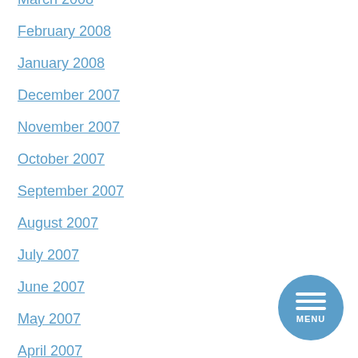March 2008
February 2008
January 2008
December 2007
November 2007
October 2007
September 2007
August 2007
July 2007
June 2007
May 2007
April 2007
March 2007